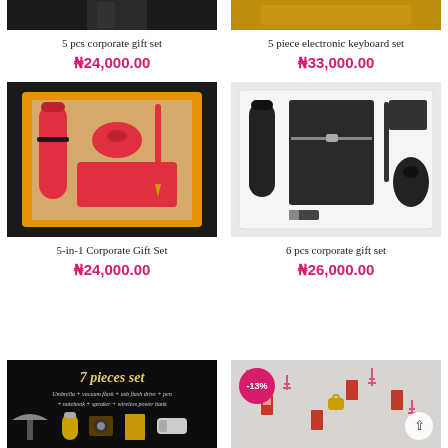[Figure (photo): Partial top of 5 pcs corporate gift set product image (dark background)]
5 pcs corporate gift set
₦24,000.00
[Figure (photo): Partial top of 5 piece electronic keyboard set product image (gold/brown background)]
5 piece electronic keyboard set
₦33,000.00
[Figure (photo): 5-in-1 Corporate Gift Set: red thermos flask, red wireless mouse, red power bank, red pen in orange gift box]
5-in-1 Corporate Gift Set
₦24,000.00
[Figure (photo): 6 pcs corporate gift set: black thermos flask, black notebook/journal, pen, USB drive, wireless mouse in white box]
6 pcs corporate gift set
₦26,000.00
[Figure (photo): 7 pieces set: Umbrella + vacuum flask + usb flash drive + pen + notebook + speaker + wireless power bank, shown on dark background]
[Figure (photo): Product with -13% discount badge, decorative patterned bag/luggage with pink Eiffel tower print, scroll-to-top button]